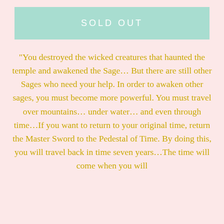SOLD OUT
"You destroyed the wicked creatures that haunted the temple and awakened the Sage… But there are still other Sages who need your help. In order to awaken other sages, you must become more powerful. You must travel over mountains… under water… and even through time…If you want to return to your original time, return the Master Sword to the Pedestal of Time. By doing this, you will travel back in time seven years…The time will come when you will